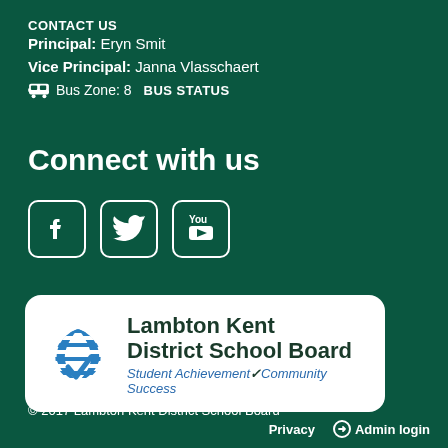CONTACT US
Principal: Eryn Smit
Vice Principal: Janna Vlasschaert
Bus Zone: 8  BUS STATUS
Connect with us
[Figure (logo): Social media icons: Facebook, Twitter, YouTube]
[Figure (logo): Lambton Kent District School Board logo with tagline: Student Achievement Community Success]
© 2017 Lambton Kent District School Board
Privacy   Admin login